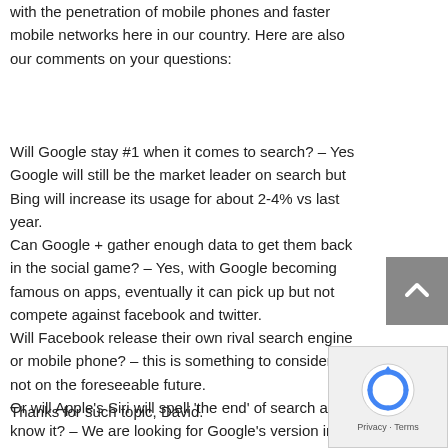with the penetration of mobile phones and faster mobile networks here in our country. Here are also our comments on your questions:
Will Google stay #1 when it comes to search? – Yes Google will still be the market leader on search but Bing will increase its usage for about 2-4% vs last year.
Can Google + gather enough data to get them back in the social game? – Yes, with Google becoming famous on apps, eventually it can pick up but not compete against facebook and twitter.
Will Facebook release their own rival search engine or mobile phone? – this is something to consider but not on the foreseeable future.
Or will Apple's Siri will spell 'the end' of search as we know it? – We are looking for Google's version in Android
Thanks for such topic, David.